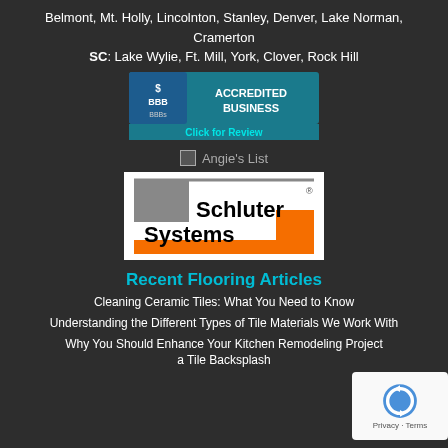Belmont, Mt. Holly, Lincolnton, Stanley, Denver, Lake Norman, Cramerton
SC: Lake Wylie, Ft. Mill, York, Clover, Rock Hill
[Figure (logo): BBB Accredited Business badge with 'Click for Review' text in teal]
[Figure (logo): Angie's List logo with broken image placeholder]
[Figure (logo): Schluter Systems logo with grey and orange design]
Recent Flooring Articles
Cleaning Ceramic Tiles: What You Need to Know
Understanding the Different Types of Tile Materials We Work With
Why You Should Enhance Your Kitchen Remodeling Project a Tile Backsplash
[Figure (logo): reCAPTCHA badge with Privacy and Terms text]